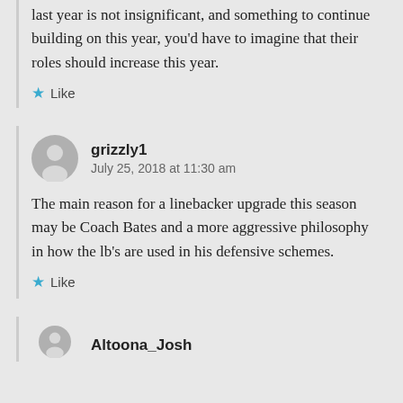last year is not insignificant, and something to continue building on this year, you'd have to imagine that their roles should increase this year.
Like
grizzly1
July 25, 2018 at 11:30 am
The main reason for a linebacker upgrade this season may be Coach Bates and a more aggressive philosophy in how the lb's are used in his defensive schemes.
Like
Altoona_Josh